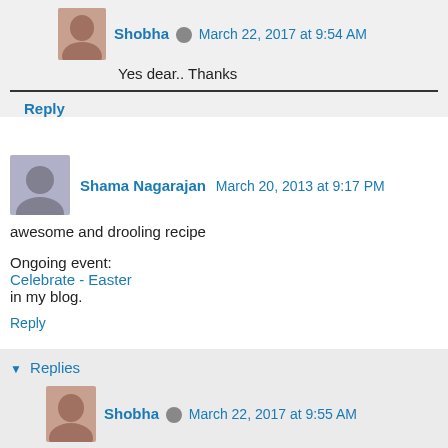Shobha March 22, 2017 at 9:54 AM
Yes dear.. Thanks
Reply
Shama Nagarajan March 20, 2013 at 9:17 PM
awesome and drooling recipe
Ongoing event:
Celebrate - Easter
in my blog.
Reply
Replies
Shobha March 22, 2017 at 9:55 AM
Thank you